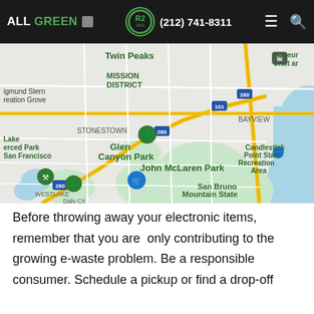ALL GREEN (212) 741-8311
[Figure (map): Google Maps screenshot showing San Francisco area with landmarks including Twin Peaks, Glen Canyon Park, John McLaren Park, Stonestown, Bayview, San Bruno Mountain State & County Park, Candlestick Point State Recreation Area, Westlake, Sigmund Stern Recreation Grove, Lake Merced Park, and highways 101 and 280.]
Before throwing away your electronic items, remember that you are  only contributing to the growing e-waste problem. Be a responsible consumer. Schedule a pickup or find a drop-off